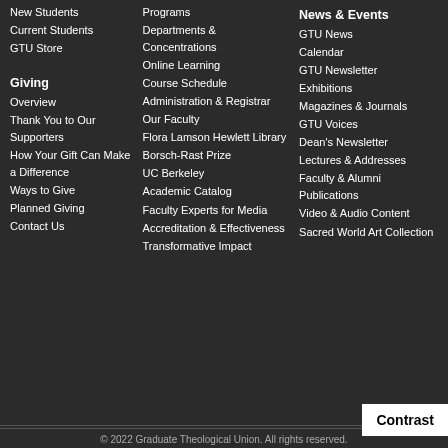New Students
Current Students
GTU Store
Giving
Overview
Thank You to Our Supporters
How Your Gift Can Make a Difference
Ways to Give
Planned Giving
Contact Us
Programs
Departments & Concentrations
Online Learning
Course Schedule
Administration & Registrar
Our Faculty
Flora Lamson Hewlett Library
Borsch-Rast Prize
UC Berkeley
Academic Catalog
Faculty Experts for Media
Accreditation & Effectiveness
Transformative Impact
News & Events
GTU News
Calendar
GTU Newsletter
Exhibitions
Magazines & Journals
GTU Voices
Dean's Newsletter
Lectures & Addresses
Faculty & Alumni Publications
Video & Audio Content
Sacred World Art Collection
© 2022 Graduate Theological Union. All rights reserved.
Contrast